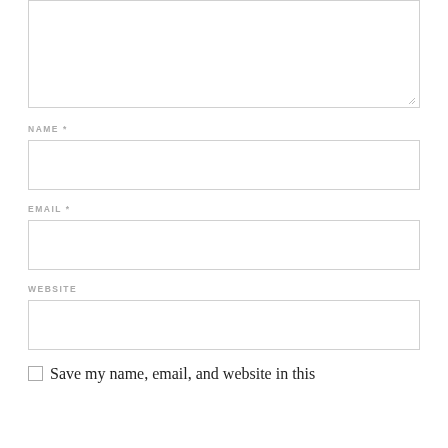[Figure (screenshot): A textarea input field with a resize handle at the bottom right, partially visible at top of page]
NAME *
[Figure (screenshot): A text input field for NAME]
EMAIL *
[Figure (screenshot): A text input field for EMAIL]
WEBSITE
[Figure (screenshot): A text input field for WEBSITE]
Save my name, email, and website in this